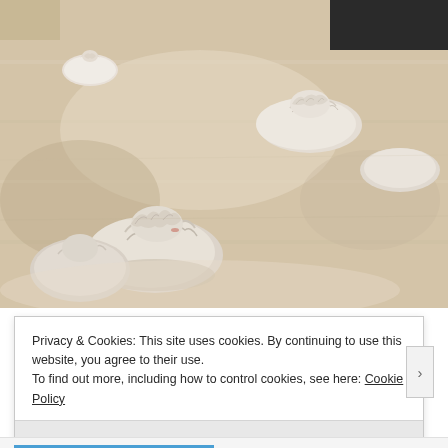[Figure (photo): Uncooked dumplings (baozi or momo style) resting on a wooden cutting board. Several white dough parcels with gathered/pleated tops are visible at various stages, photographed from above at an angle.]
Privacy & Cookies: This site uses cookies. By continuing to use this website, you agree to their use.
To find out more, including how to control cookies, see here: Cookie Policy
Close and accept